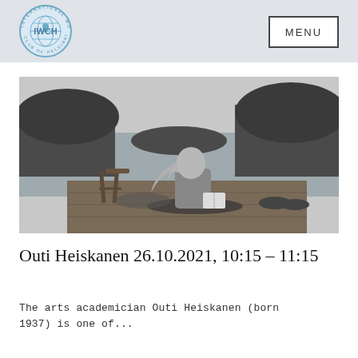IWCH — International Women's Club of Helsinki | MENU
[Figure (photo): Black and white photo of a woman with long hair sitting on a wooden dock by a lake, holding a book, with a wooden stool beside her and trees in the background]
Outi Heiskanen 26.10.2021, 10:15 – 11:15
The arts academician Outi Heiskanen (born 1937) is one of...